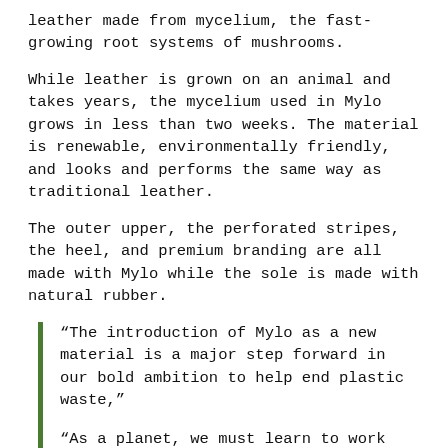leather made from mycelium, the fast-growing root systems of mushrooms.
While leather is grown on an animal and takes years, the mycelium used in Mylo grows in less than two weeks. The material is renewable, environmentally friendly, and looks and performs the same way as traditional leather.
The outer upper, the perforated stripes, the heel, and premium branding are all made with Mylo while the sole is made with natural rubber.
“The introduction of Mylo as a new material is a major step forward in our bold ambition to help end plastic waste,”
“As a planet, we must learn to work with nature rather than against it and challenge affordable funding…”